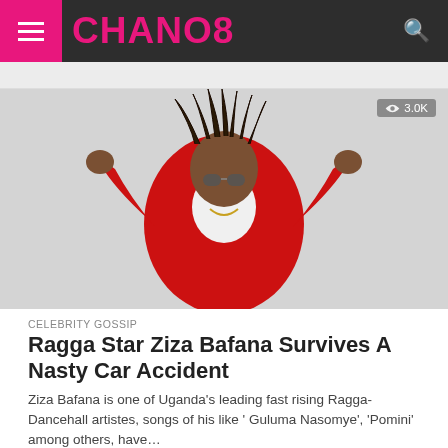CHANO8
[Figure (photo): Ragga artist Ziza Bafana in a red jacket with dreadlocks and sunglasses, flexing both arms upward against a grey background. View count badge: 3.0K]
CELEBRITY GOSSIP
Ragga Star Ziza Bafana Survives A Nasty Car Accident
Ziza Bafana is one of Uganda's leading fast rising Ragga-Dancehall artistes, songs of his like ' Guluma Nasomye', 'Pomini' among others, have...
[Figure (photo): Dark, moody photo — appears to show a venue or event space with red and dark tones. View count badge: 1.7K]